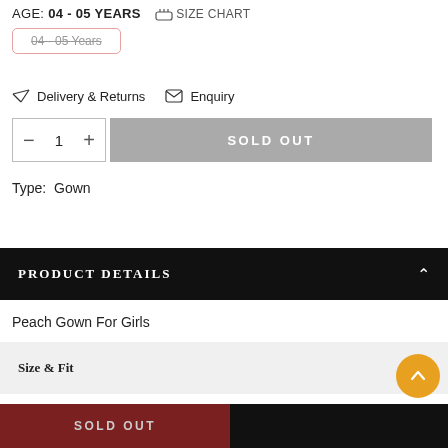AGE: 04 - 05 YEARS  SIZE CHART
04 - 05 Years
Delivery & Returns   Enquiry
− 1 +   SOLD OUT
Type: Gown
PRODUCT DETAILS
Peach Gown For Girls
Size & Fit
SOLD OUT